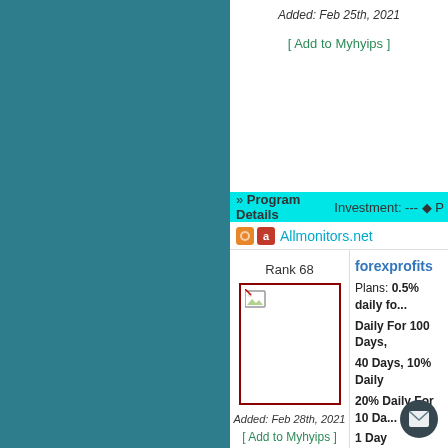Added: Feb 25th, 2021
[ Add to Myhyips ]
» Program Details   Investment: --- ◆ P
Allmonitors.net
forexprofits
Plans: 0.5% daily fo... Daily For 100 Days, 40 Days, 10% Daily 20% Daily For 10 Da... 1 Day
Our Rating: (strikethrough rating icons)
Last Paid: No Payou...
Support: (envelope icon)
Rank 68
Added: Feb 28th, 2021
[ Add to Myhyips ]
» Program Details   Investment: --- ◆ P
Allmonitors.net